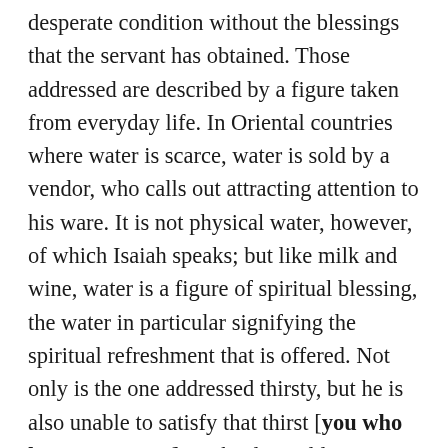desperate condition without the blessings that the servant has obtained. Those addressed are described by a figure taken from everyday life. In Oriental countries where water is scarce, water is sold by a vendor, who calls out attracting attention to his ware. It is not physical water, however, of which Isaiah speaks; but like milk and wine, water is a figure of spiritual blessing, the water in particular signifying the spiritual refreshment that is offered. Not only is the one addressed thirsty, but he is also unable to satisfy that thirst [you who have no money]. In theological language we may say that he is totally depraved and totally unable to remove that depravity. Five imperatives follow: come, buy and eat, come, buy. The first implies that the needy one is not at the place of relief and must come to that place. The word for buy is used in particular of the purchase of food. But how